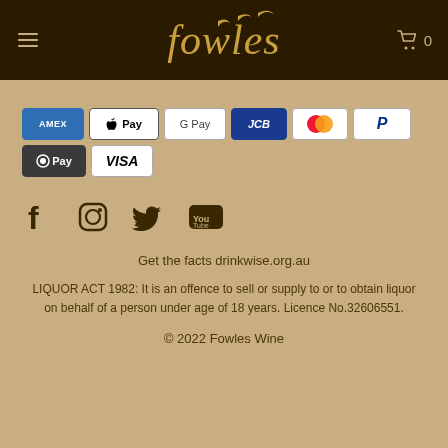Fowles Wine website header with logo and navigation
[Figure (logo): Fowles Wine logo with bird silhouettes and stylized italic text in gold on dark brown background]
[Figure (infographic): Payment method badges: AMEX, Apple Pay, G Pay, JCB, Mastercard, PayPal, OPay, VISA]
[Figure (infographic): Social media icons: Facebook, Instagram, Twitter, YouTube]
Get the facts drinkwise.org.au
LIQUOR ACT 1982: It is an offence to sell or supply to or to obtain liquor on behalf of a person under age of 18 years. Licence No.32606551.
© 2022 Fowles Wine